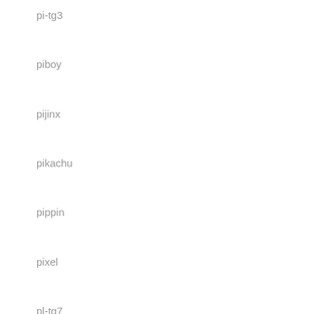pi-tg3
piboy
pijinx
pikachu
pippin
pixel
pl-tg7
play
player
playmore
playstation
pocket
pocketgo
pocketplay
pokemon